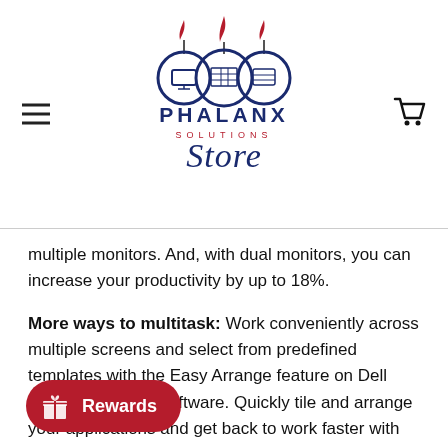Phalanx Solutions Store — navigation header with logo, hamburger menu, and cart icon
multiple monitors. And, with dual monitors, you can increase your productivity by up to 18%.
More ways to multitask: Work conveniently across multiple screens and select from predefined templates with the Easy Arrange feature on Dell Display Manager software. Quickly tile and arrange your applications and get back to work faster with Auto-restore, a feature that remembers where you left off.
Consistent and rich colors: A wide viewing angle enabled by In-Plane technology lets you see vibrant colors-no
[Figure (logo): Phalanx Solutions Store logo with three circular emblems topped with flame/torch motifs and ornate script]